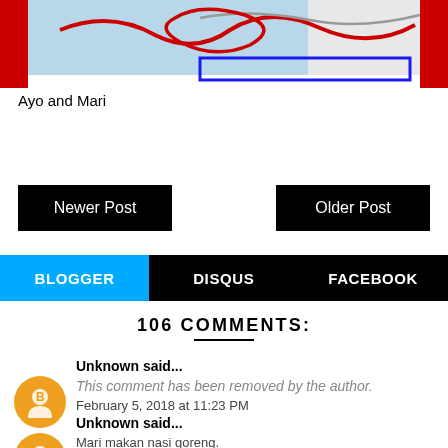[Figure (illustration): Partial top-of-page illustration with red border decorations, light blue background strip with red and gray curved/looping lines, and a blue rectangular outline element. Red vertical bars on left and right edges.]
Ayo and Mari
Newer Post
Older Post
BLOGGER
DISQUS
FACEBOOK
106 COMMENTS:
Unknown said...
This comment has been removed by the author.
February 5, 2018 at 11:23 PM
Unknown said...
Mari makan nasi goreng.